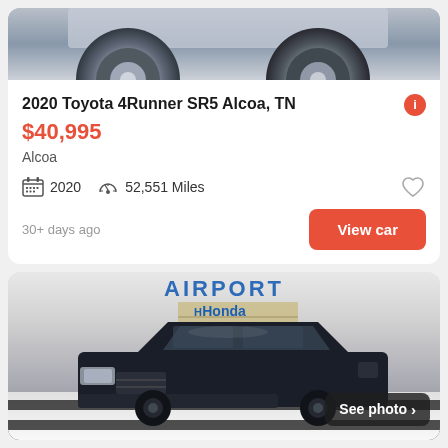[Figure (photo): Close-up photo of silver/chrome vehicle wheel and lower body panel]
2020 Toyota 4Runner SR5 Alcoa, TN
$40,995
Alcoa
2020  52,551 Miles
30+ days ago
View car
[Figure (photo): Dark black Toyota 4Runner SUV parked in front of Airport Honda dealership. See photo button overlay in bottom right.]